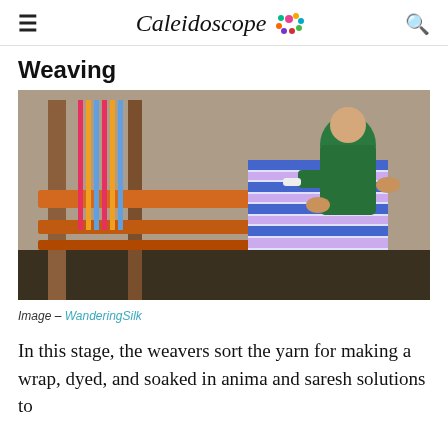Caleidoscope
Weaving
[Figure (photo): A man in a green jacket operates a traditional loom, weaving colorful striped fabric with orange wooden beams visible in the foreground.]
Image – WanderingSilk
In this stage, the weavers sort the yarn for making a wrap, dyed, and soaked in anima and saresh solutions to